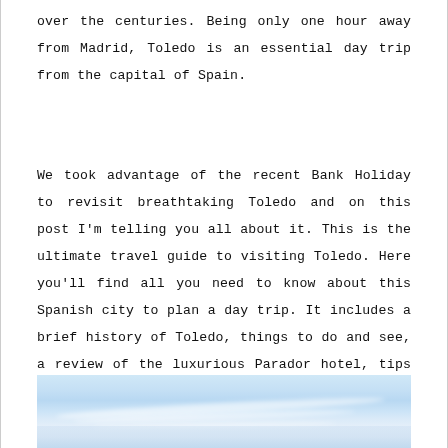over the centuries. Being only one hour away from Madrid, Toledo is an essential day trip from the capital of Spain.
We took advantage of the recent Bank Holiday to revisit breathtaking Toledo and on this post I'm telling you all about it. This is the ultimate travel guide to visiting Toledo. Here you'll find all you need to know about this Spanish city to plan a day trip. It includes a brief history of Toledo, things to do and see, a review of the luxurious Parador hotel, tips on the best gifts to buy and advice on getting there.
[Figure (photo): Sky photograph showing blue sky with thin wispy cloud streaks, partial view of landscape at bottom]